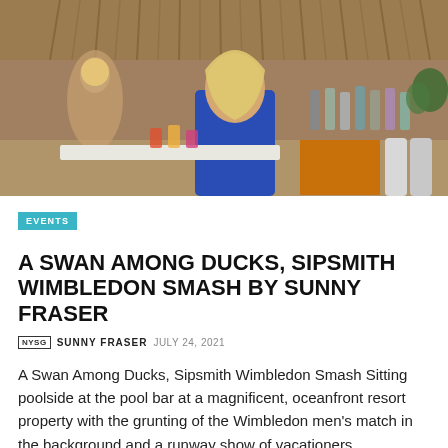[Figure (photo): Photo of women at a tropical pool bar with thatched roof, colorful drinks, bar shelves with bottles, and a TV screen in the background.]
EVENTS
A SWAN AMONG DUCKS, SIPSMITH WIMBLEDON SMASH BY SUNNY FRASER
NYSG  SUNNY FRASER  JULY 24, 2021
A Swan Among Ducks, Sipsmith Wimbledon Smash Sitting poolside at the pool bar at a magnificent, oceanfront resort property with the grunting of the Wimbledon men's match in the background and a runway show of vacationers